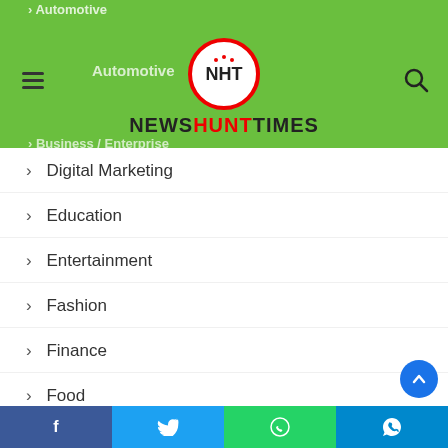[Figure (logo): NewsHuntTimes website navigation page with green header, logo, hamburger menu, and search icon]
Digital Marketing
Education
Entertainment
Fashion
Finance
Food
Games
Health
Home Improvement
Law
Lifestyle